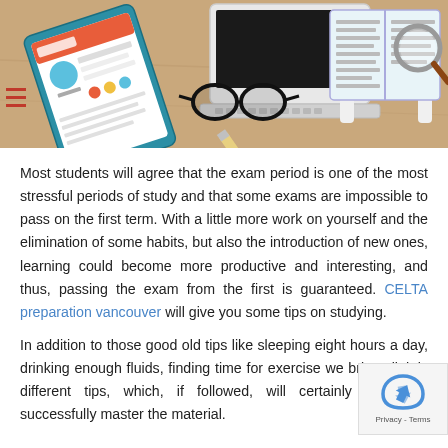[Figure (illustration): Flat-style illustration of a student study desk with a tablet showing a website, a laptop, glasses, headphones, a pencil, and an open book with a magnifying glass on a wooden desk background.]
Most students will agree that the exam period is one of the most stressful periods of study and that some exams are impossible to pass on the first term. With a little more work on yourself and the elimination of some habits, but also the introduction of new ones, learning could become more productive and interesting, and thus, passing the exam from the first is guaranteed. CELTA preparation vancouver will give you some tips on studying.
In addition to those good old tips like sleeping eight hours a day, drinking enough fluids, finding time for exercise we bring slightly different tips, which, if followed, will certainly he successfully master the material.